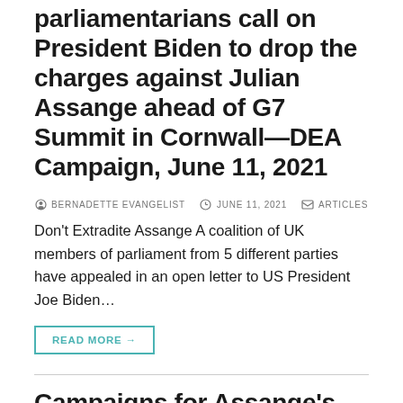parliamentarians call on President Biden to drop the charges against Julian Assange ahead of G7 Summit in Cornwall—DEA Campaign, June 11, 2021
BERNADETTE EVANGELIST   JUNE 11, 2021   ARTICLES
Don't Extradite Assange A coalition of UK members of parliament from 5 different parties have appealed in an open letter to US President Joe Biden…
READ MORE →
Campaigns for Assange's freedom continue despite censorship struggle—